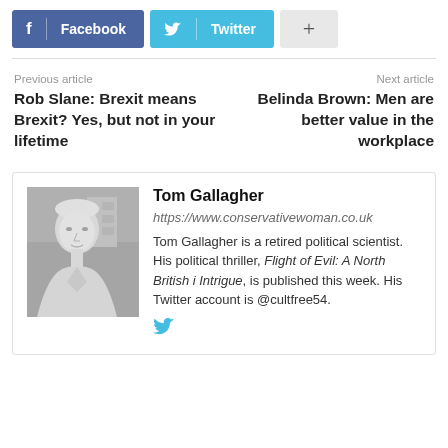[Figure (other): Social share buttons: Facebook (blue), Twitter (cyan), plus button (gray)]
Previous article
Next article
Rob Slane: Brexit means Brexit? Yes, but not in your lifetime
Belinda Brown: Men are better value in the workplace
Tom Gallagher
https://www.conservativewoman.co.uk
Tom Gallagher is a retired political scientist. His political thriller, Flight of Evil: A North British i Intrigue, is published this week. His Twitter account is @cultfree54.
[Figure (photo): Black and white portrait photo of Tom Gallagher, an older man in a light jacket]